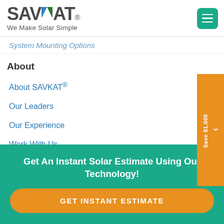[Figure (logo): SAVKAT logo with blue and green triangle accent, tagline 'We Make Solar Simple']
System Mounting Options
About
About SAVKAT®
Our Leaders
Our Experience
Work With Us
Concierge Service
Save $1,000
Get An Instant Solar Estimate Using Our Technology!
GET INSTANT ESTIMATE